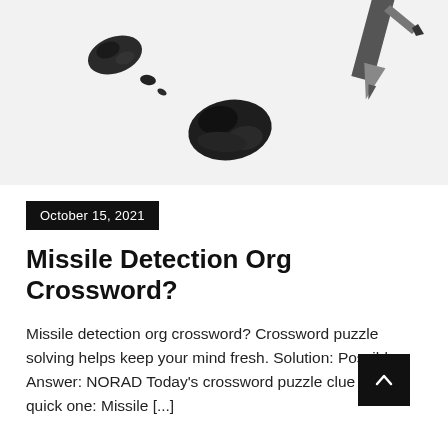[Figure (photo): Close-up photo of broken pencil tip and graphite shavings on a white background, with a pencil tip visible in the upper right corner]
October 15, 2021
Missile Detection Org Crossword?
Missile detection org crossword? Crossword puzzle solving helps keep your mind fresh. Solution: Possible Answer: NORAD Today's crossword puzzle clue is a quick one: Missile [...]